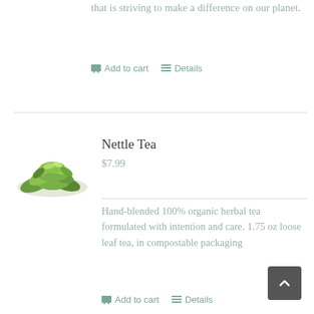that is striving to make a difference on our planet.
Add to cart   Details
Nettle Tea
$7.99
[Figure (photo): A pile of dried green nettle tea leaves]
Hand-blended 100% organic herbal tea formulated with intention and care. 1.75 oz loose leaf tea, in compostable packaging
Add to cart   Details